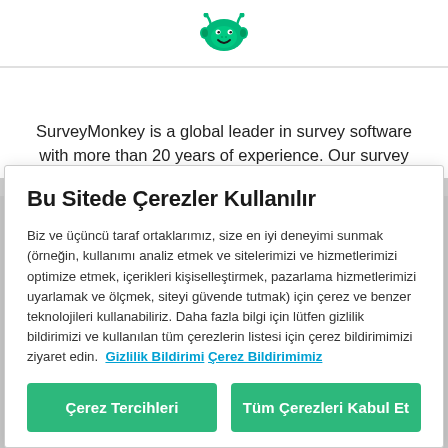[Figure (logo): SurveyMonkey logo - green monkey head icon]
SurveyMonkey is a global leader in survey software with more than 20 years of experience. Our survey platform makes it easy to create surveys, analyze the data, and act on it—no matter if you're launching research projects or...
Bu Sitede Çerezler Kullanılır
Biz ve üçüncü taraf ortaklarımız, size en iyi deneyimi sunmak (örneğin, kullanımı analiz etmek ve sitelerimizi ve hizmetlerimizi optimize etmek, içerikleri kişiselleştirmek, pazarlama hizmetlerimizi uyarlamak ve ölçmek, siteyi güvende tutmak) için çerez ve benzer teknolojileri kullanabiliriz. Daha fazla bilgi için lütfen gizlilik bildirimizi ve kullanılan tüm çerezlerin listesi için çerez bildirimimizi ziyaret edin.  Gizlilik Bildirimi  Çerez Bildirimimiz
Çerez Tercihleri
Tüm Çerezleri Kabul Et